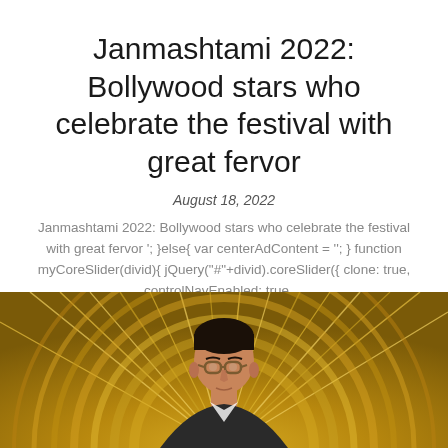Janmashtami 2022: Bollywood stars who celebrate the festival with great fervor
August 18, 2022
Janmashtami 2022: Bollywood stars who celebrate the festival with great fervor '; }else{ var centerAdContent = ''; } function myCoreSlider(divid){ jQuery("#"+divid).coreSlider({ clone: true, controlNavEnabled: true,...
[Figure (photo): Photo of a man with glasses and dark hair against a golden decorative background with circular/radial patterns]